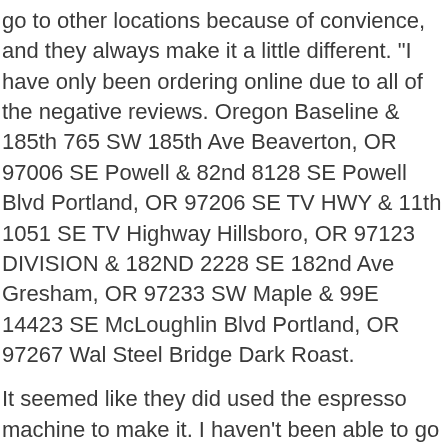go to other locations because of convience, and they always make it a little different. "I have only been ordering online due to all of the negative reviews. Oregon Baseline & 185th 765 SW 185th Ave Beaverton, OR 97006 SE Powell & 82nd 8128 SE Powell Blvd Portland, OR 97206 SE TV HWY & 11th 1051 SE TV Highway Hillsboro, OR 97123 DIVISION & 182ND 2228 SE 182nd Ave Gresham, OR 97233 SW Maple & 99E 14423 SE McLoughlin Blvd Portland, OR 97267 Wal Steel Bridge Dark Roast.
It seemed like they did used the espresso machine to make it. I haven't been able to go to this location for the past 2 months, but before that I went here every morning.
L.O.V.E. Great drinks and even better people working here. They are always careful and super friendly!! I'm not exaggerating, it was undrinkable.
L.O.V.E. Hey guys! I asked for a blended lavender rockstar NOT a